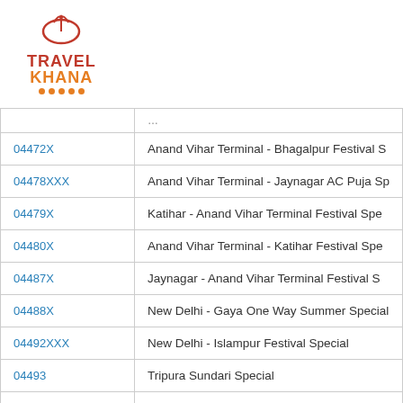[Figure (logo): Travel Khana logo with chef hat icon, red TRAVEL text and orange KHANA text with orange dots underline]
| Code | Train Name |
| --- | --- |
| 04472X | Anand Vihar Terminal - Bhagalpur Festival S... |
| 04478XXX | Anand Vihar Terminal - Jaynagar AC Puja Sp... |
| 04479X | Katihar - Anand Vihar Terminal Festival Spe... |
| 04480X | Anand Vihar Terminal - Katihar Festival Spe... |
| 04487X | Jaynagar - Anand Vihar Terminal Festival S... |
| 04488X | New Delhi - Gaya One Way Summer Special |
| 04492XXX | New Delhi - Islampur Festival Special |
| 04493 | Tripura Sundari Special |
| 04494 | Tripura Sundari Special |
| 0498... | Banasarim Ullase 25 Summer Special... |